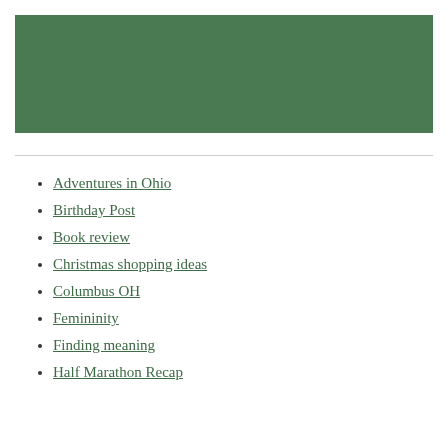[Figure (other): Green rectangular banner/header image]
Adventures in Ohio
Birthday Post
Book review
Christmas shopping ideas
Columbus OH
Femininity
Finding meaning
Half Marathon Recap